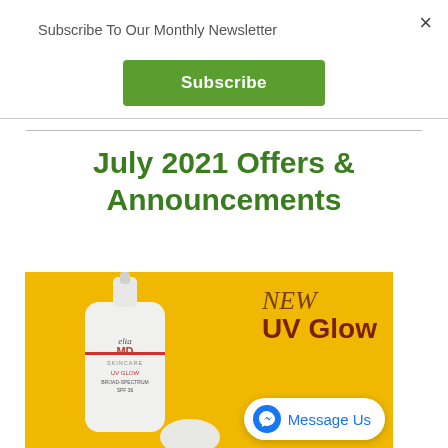×
Subscribe To Our Monthly Newsletter
Subscribe
July 2021 Offers & Announcements
[Figure (photo): EltaMD UV Glow Broad Spectrum SPF 36 sunscreen pump bottle on yellow background with 'NEW UV Glow' text overlay]
Message Us